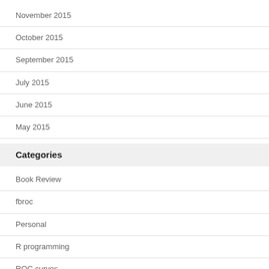November 2015
October 2015
September 2015
July 2015
June 2015
May 2015
Categories
Book Review
fbroc
Personal
R programming
ROC curves
Uncategorized